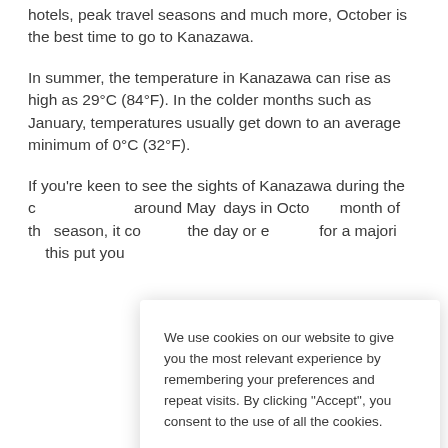hotels, peak travel seasons and much more, October is the best time to go to Kanazawa.
In summer, the temperature in Kanazawa can rise as high as 29°C (84°F). In the colder months such as January, temperatures usually get down to an average minimum of 0°C (32°F).
If you're keen to see the sights of Kanazawa during the c... around May... days in Octo... month of th... season, it co... the day or e... for a majori... this put you...
We use cookies on our website to give you the most relevant experience by remembering your preferences and repeat visits. By clicking "Accept", you consent to the use of all the cookies.